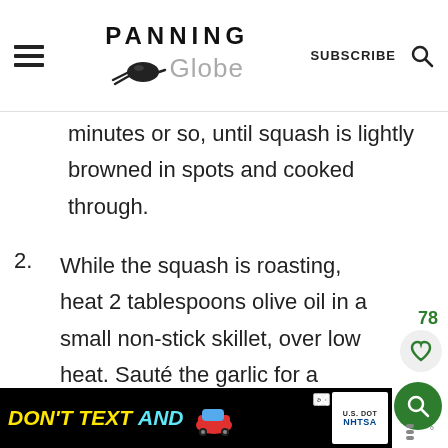PANNING THE Globe | SUBSCRIBE
minutes or so, until squash is lightly browned in spots and cooked through.
2. While the squash is roasting, heat 2 tablespoons olive oil in a small non-stick skillet, over low heat. Sauté the garlic for a minute or two, until it's soft and fragrant. Be careful not to let it brown. Put the cooked squash
[Figure (other): DON'T TEXT AND advertisement banner with red car illustration, ad choice logo, and NHTSA logo]
78